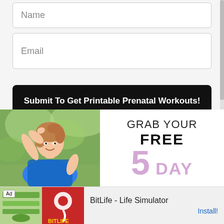Name
Email
Submit To Get Printable Prenatal Workouts!
[Figure (photo): A smiling woman in a blue tank top with her arm raised, outdoors with green trees in background. Beside her is text 'GRAB YOUR FREE 5 DAY' in large letters.]
BitLife - Life Simulator
Install!